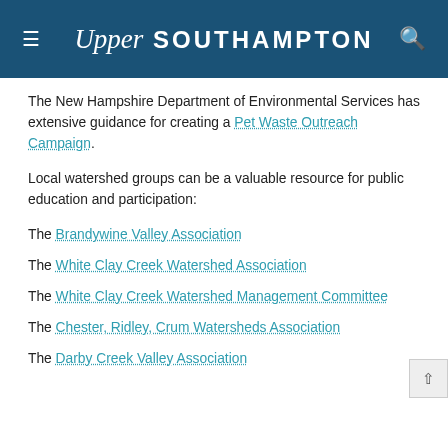Upper Southampton
The New Hampshire Department of Environmental Services has extensive guidance for creating a Pet Waste Outreach Campaign.
Local watershed groups can be a valuable resource for public education and participation:
The Brandywine Valley Association
The White Clay Creek Watershed Association
The White Clay Creek Watershed Management Committee
The Chester, Ridley, Crum Watersheds Association
The Darby Creek Valley Association